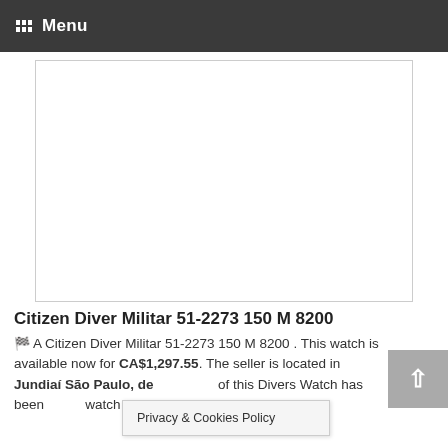Menu
[Figure (photo): White/blank image placeholder area with a border]
Citizen Diver Militar 51-2273 150 M 8200
A Citizen Diver Militar 51-2273 150 M 8200 . This watch is available now for CA$1,297.55. The seller is located in Jundiaí São Paulo, de... of this Divers Watch has been... watch is
Privacy & Cookies Policy